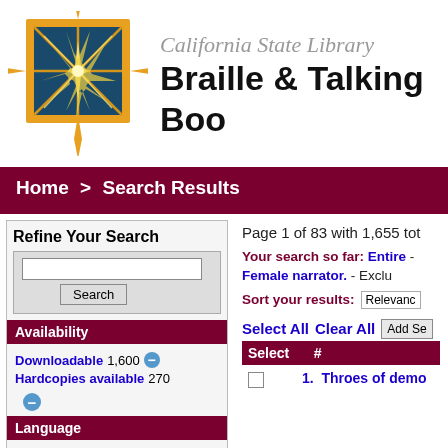[Figure (logo): California State Library star/compass logo in gold and dark teal]
California State Library Braille & Talking Boo
Home > Search Results
Refine Your Search
Search box with Search button
Availability
Downloadable 1,600 [minus] Hardcopies available 270 [minus]
Language
English 1,600 [minus]
Page 1 of 83 with 1,655 tot
Your search so far: Entire - Female narrator. - Exclu
Sort your results: Relevanc
Select All Clear All Add Se
| Select | # |
| --- | --- |
|  | 1. Throes of demo |
1. Throes of demo...